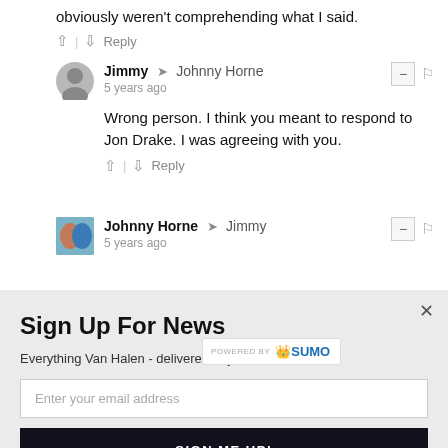obviously weren't comprehending what I said.
Reply
Jimmy → Johnny Horne
5 years ago
Wrong person. I think you meant to respond to Jon Drake. I was agreeing with you.
Reply
Johnny Horne → Jimmy
5 years ago
[Figure (infographic): POWERED BY SUMO badge overlay]
Sign Up For News
Everything Van Halen - delivered to your inbox!
Enter your email address
SIGN ME UP!